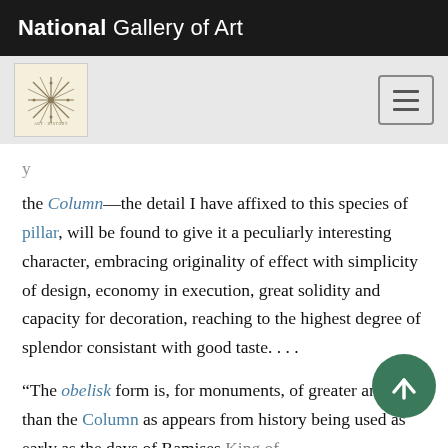National Gallery of Art
[Figure (logo): National Gallery of Art decorative stamp logo with snowflake/star pattern on cream background]
the Column—the detail I have affixed to this species of pillar, will be found to give it a peculiarly interesting character, embracing originality of effect with simplicity of design, economy in execution, great solidity and capacity for decoration, reaching to the highest degree of splendor consistant with good taste. . . .
“The obelisk form is, for monuments, of greater antiquity than the Column as appears from history being used as early as the days of Ramises King of Egypt in the time of the Trojan War—Kercher